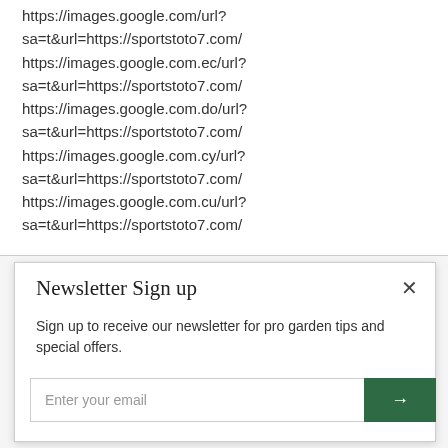https://images.google.com/url?sa=t&url=https://sportstoto7.com/
https://images.google.com.ec/url?sa=t&url=https://sportstoto7.com/
https://images.google.com.do/url?sa=t&url=https://sportstoto7.com/
https://images.google.com.cy/url?sa=t&url=https://sportstoto7.com/
https://images.google.com.cu/url?sa=t&url=https://sportstoto7.com/
Newsletter Sign up
Sign up to receive our newsletter for pro garden tips and special offers.
Enter your email